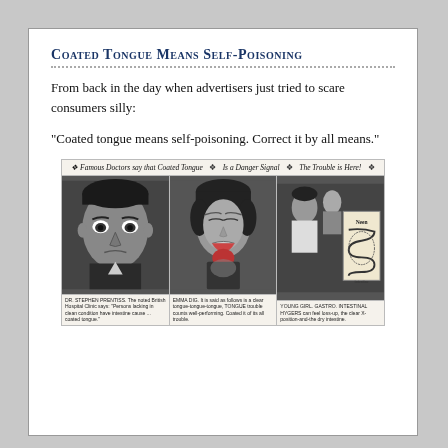Coated tongue means self-poisoning
From back in the day when advertisers just tried to scare consumers silly:
"Coated tongue means self-poisoning. Correct it by all means."
[Figure (photo): Vintage newspaper advertisement with three panels showing: 1) A man with intense staring eyes (Famous Doctors say that Coated Tongue), 2) A woman sticking out her tongue (Is a Danger Signal), 3) A doctor examining a patient with a diagram of intestines (The Trouble is Here!). Caption text appears below each photo panel.]